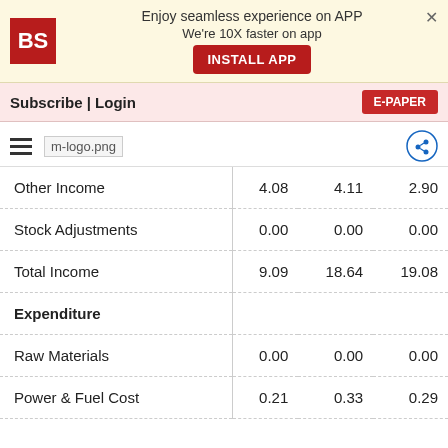[Figure (screenshot): App promotion banner with BS logo, text 'Enjoy seamless experience on APP We're 10X faster on app', INSTALL APP button, and close X]
Subscribe | Login   E-PAPER
[Figure (logo): Hamburger menu icon, m-logo.png placeholder, and share icon]
|  |  |  |  |
| --- | --- | --- | --- |
| Other Income |  | 4.08 | 4.11  2.90 |
| Stock Adjustments |  | 0.00 | 0.00  0.00 |
| Total Income |  | 9.09 | 18.64 19.08 |
| Expenditure |  |  |  |
| Raw Materials |  | 0.00 | 0.00  0.00 |
| Power & Fuel Cost |  | 0.21 | 0.33  0.29 |